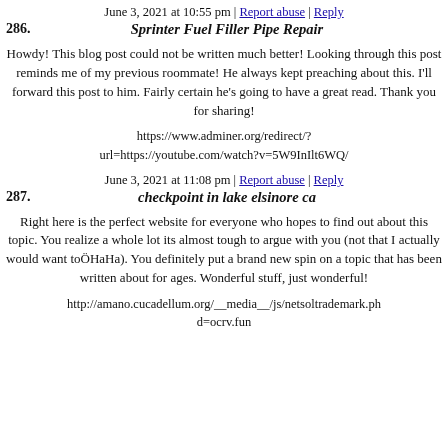June 3, 2021 at 10:55 pm | Report abuse | Reply
286.
Sprinter Fuel Filler Pipe Repair
Howdy! This blog post could not be written much better! Looking through this post reminds me of my previous roommate! He always kept preaching about this. I'll forward this post to him. Fairly certain he's going to have a great read. Thank you for sharing!
https://www.adminer.org/redirect/?url=https://youtube.com/watch?v=5W9InIlt6WQ/
June 3, 2021 at 11:08 pm | Report abuse | Reply
287.
checkpoint in lake elsinore ca
Right here is the perfect website for everyone who hopes to find out about this topic. You realize a whole lot its almost tough to argue with you (not that I actually would want toÖHaHa). You definitely put a brand new spin on a topic that has been written about for ages. Wonderful stuff, just wonderful!
http://amano.cucadellum.org/__media__/js/netsoltrademark.php?d=ocrv.fun